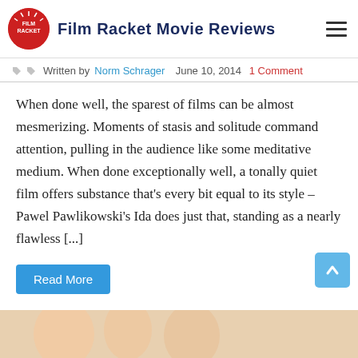Film Racket Movie Reviews
Written by Norm Schrager  June 10, 2014  1 Comment
When done well, the sparest of films can be almost mesmerizing. Moments of stasis and solitude command attention, pulling in the audience like some meditative medium. When done exceptionally well, a tonally quiet film offers substance that’s every bit equal to its style – Pawel Pawlikowski’s Ida does just that, standing as a nearly flawless [...]
Read More
[Figure (photo): Bottom strip showing partial image of people, partially cropped]